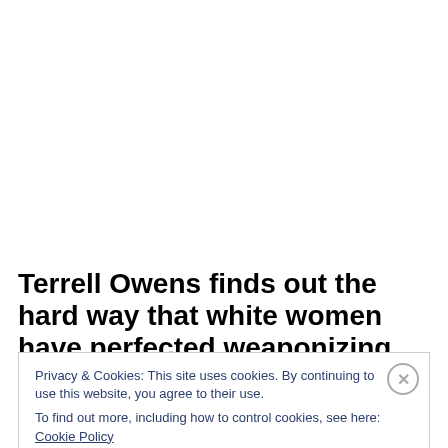Terrell Owens finds out the hard way that white women have perfected weaponizing their tear...
Privacy & Cookies: This site uses cookies. By continuing to use this website, you agree to their use. To find out more, including how to control cookies, see here: Cookie Policy